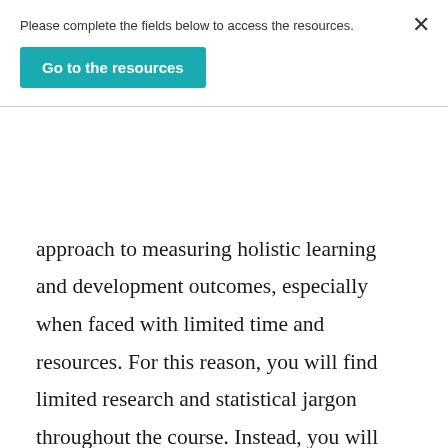Please complete the fields below to access the resources.
Go to the resources
approach to measuring holistic learning and development outcomes, especially when faced with limited time and resources. For this reason, you will find limited research and statistical jargon throughout the course. Instead, you will find clear and concise descriptions, tips, tools, and resources to support you on your journey of measuring the learning and development outcomes of